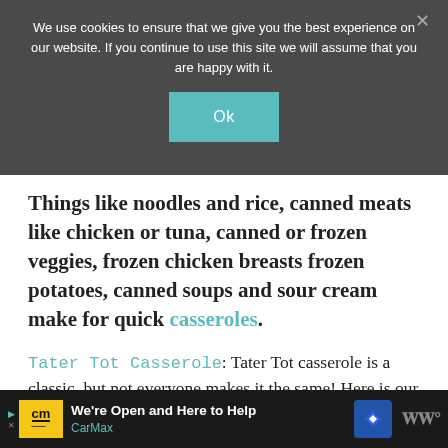We use cookies to ensure that we give you the best experience on our website. If you continue to use this site we will assume that you are happy with it.
Things like noodles and rice, canned meats like chicken or tuna, canned or frozen veggies, frozen chicken breasts frozen potatoes, canned soups and sour cream make for quick casseroles.
Tater Tot Casserole: Tater Tot casserole is a classic, but not everyone makes it the same! Here is our version.
[Figure (screenshot): Advertisement banner for CarMax at the bottom of the page, showing CarMax logo with yellow background, text 'We're Open and Here to Help' and 'CarMax', a blue diamond navigation icon, and a Weight Watchers style icon on the right.]